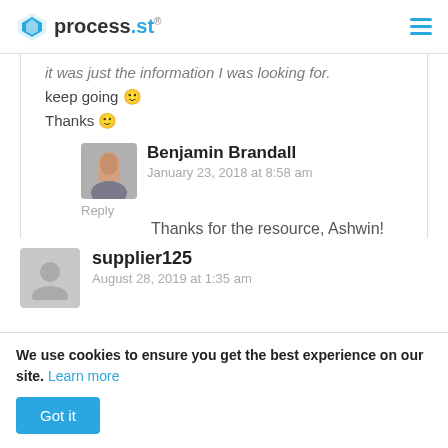process.st
it was just the information I was looking for.
keep going 🙂
Thanks 🙂
Benjamin Brandall
January 23, 2018 at 8:58 am
Reply
Thanks for the resource, Ashwin!
supplier125
August 28, 2019 at 1:35 am
We use cookies to ensure you get the best experience on our site. Learn more
Got it